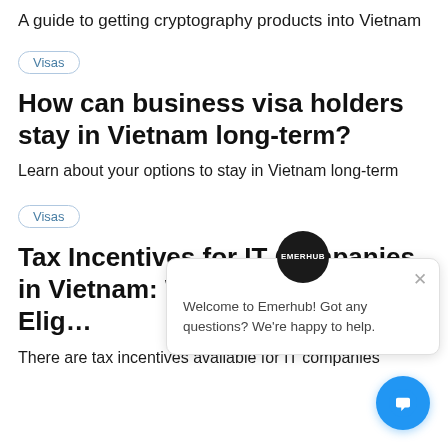A guide to getting cryptography products into Vietnam
Visas
How can business visa holders stay in Vietnam long-term?
Learn about your options to stay in Vietnam long-term
Visas
Tax Incentives for IT Companies in Vietnam: Which Sectors are Eligible
There are tax incentives available for IT companies
[Figure (screenshot): Emerhub chat widget popup with avatar logo and message: Welcome to Emerhub! Got any questions? We're happy to help. Also shows blue chat button at bottom right.]